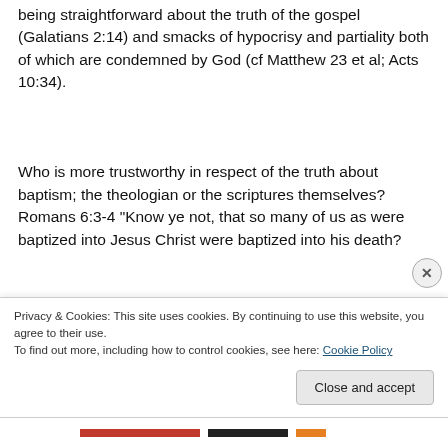being straightforward about the truth of the gospel (Galatians 2:14) and smacks of hypocrisy and partiality both of which are condemned by God (cf Matthew 23 et al; Acts 10:34).
Who is more trustworthy in respect of the truth about baptism; the theologian or the scriptures themselves? Romans 6:3-4 “Know ye not, that so many of us as were baptized into Jesus Christ were baptized into his death?
Privacy & Cookies: This site uses cookies. By continuing to use this website, you agree to their use.
To find out more, including how to control cookies, see here: Cookie Policy